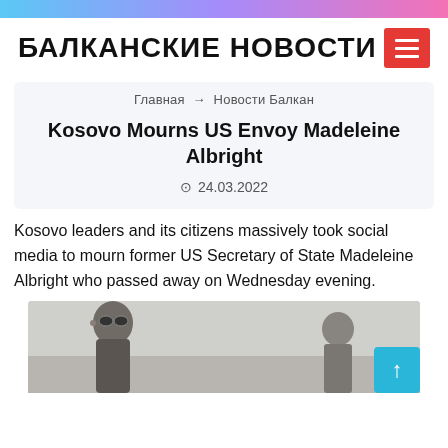БАЛКАНСКИЕ НОВОСТИ
Главная → Новости Балкан
Kosovo Mourns US Envoy Madeleine Albright
24.03.2022
Kosovo leaders and its citizens massively took social media to mourn former US Secretary of State Madeleine Albright who passed away on Wednesday evening.
[Figure (photo): Two people photographed outdoors, woman on left wearing sunglasses, person on right visible in background]